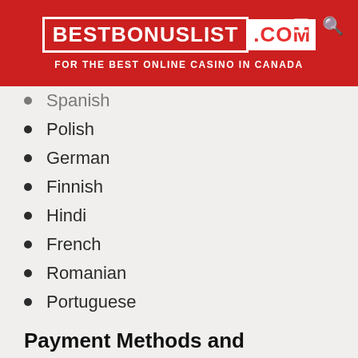BESTBONUSLIST .COM | FOR THE BEST ONLINE CASINO IN CANADA
Spanish
Polish
German
Finnish
Hindi
French
Romanian
Portuguese
Payment Methods and Accepted Currencies
You'll see you can use trusted payment methods like Interac, Paysafe, ecoPayz, MuchBetter and more to